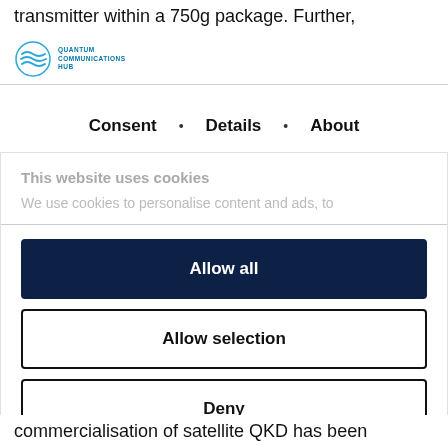transmitter within a 750g package. Further,
[Figure (logo): Quantum Communications Hub logo with wave icon and text]
Consent • Details • About
This website uses cookies
We use cookies to personalise content and ads, to
Allow all
Allow selection
Deny
Powered by Cookiebot by Usercentrics
commercialisation of satellite QKD has been